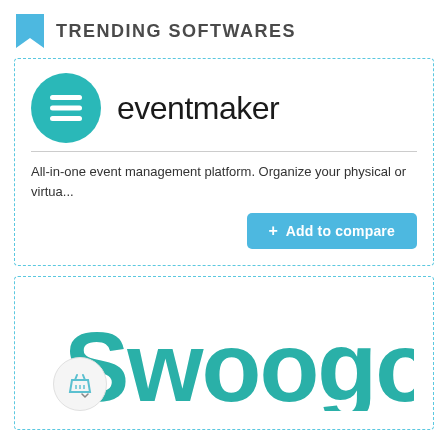TRENDING SOFTWARES
[Figure (logo): Eventmaker logo — teal circle with three horizontal white lines (hamburger menu icon) and the text 'eventmaker' in black beside it]
All-in-one event management platform. Organize your physical or virtua...
[Figure (logo): Swoogo logo — large teal stylized text 'Swoogo' with a shopping basket icon in a light gray circle at the bottom left]